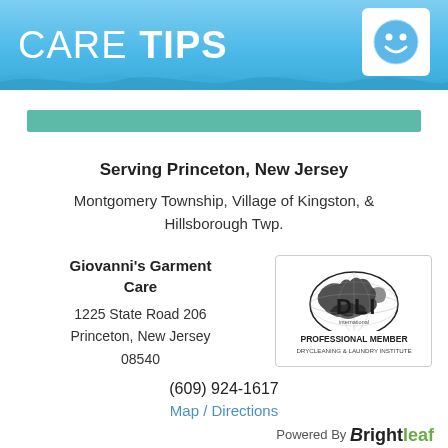[Figure (illustration): Blue gradient header banner with 'CARE TIPS' text in white and a smiley face icon in a white rounded square on the right, with wave pattern at bottom]
[Figure (illustration): Teal/mint colored horizontal bar]
Serving Princeton, New Jersey
Montgomery Township, Village of Kingston, & Hillsborough Twp.
Giovanni's Garment Care
1225 State Road 206
Princeton, New Jersey 08540
[Figure (logo): DLI International Professional Member Drycleaning & Laundry Institute logo with world map globe]
(609) 924-1617
Map / Directions
Powered By Brightleaf